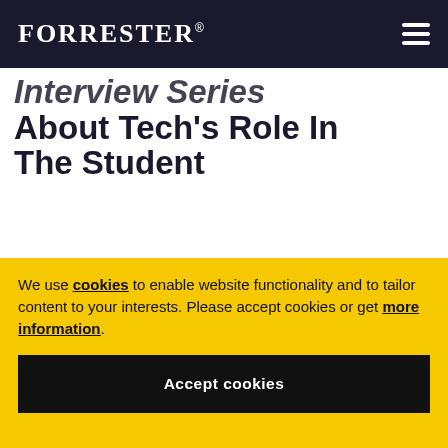FORRESTER®
Interview Series About Tech's Role In The Student
We use cookies to enable website functionality and to tailor content to your interests. Please accept cookies or get more information.
Accept cookies